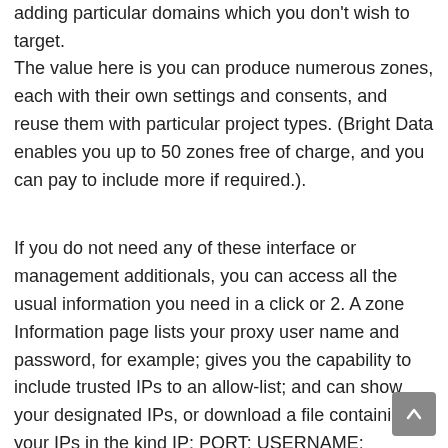adding particular domains which you don't wish to target.
The value here is you can produce numerous zones, each with their own settings and consents, and reuse them with particular project types. (Bright Data enables you up to 50 zones free of charge, and you can pay to include more if required.).
If you do not need any of these interface or management additionals, you can access all the usual information you need in a click or 2. A zone Information page lists your proxy user name and password, for example; gives you the capability to include trusted IPs to an allow-list; and can show your designated IPs, or download a file containing your IPs in the kind IP: PORT: USERNAME: PASSWORD.).